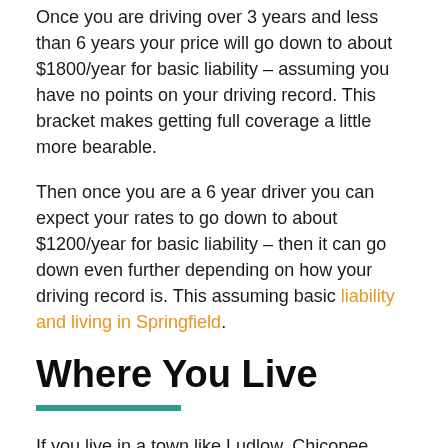Once you are driving over 3 years and less than 6 years your price will go down to about $1800/year for basic liability – assuming you have no points on your driving record. This bracket makes getting full coverage a little more bearable.
Then once you are a 6 year driver you can expect your rates to go down to about $1200/year for basic liability – then it can go down even further depending on how your driving record is. This assuming basic liability and living in Springfield.
Where You Live
If you live in a town like Ludlow, Chicopee, Ware, Palmer, Wilbraham etc then your rates will be even lower – the town you live in has a lot to do with the